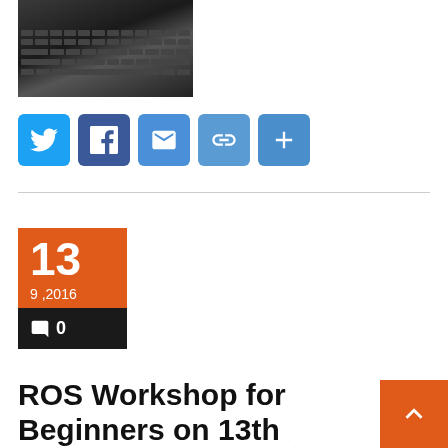[Figure (photo): Laptop keyboard close-up photo, dark tones]
[Figure (infographic): Social sharing buttons: Twitter, Facebook, Email, Link, More (plus sign), all in blue square icons]
[Figure (infographic): Date card widget showing '13' large number, '9 ,2016' date, and '0' comment count on dark background]
ROS Workshop for Beginners on 13th September, ROS初心者向けワークショップ